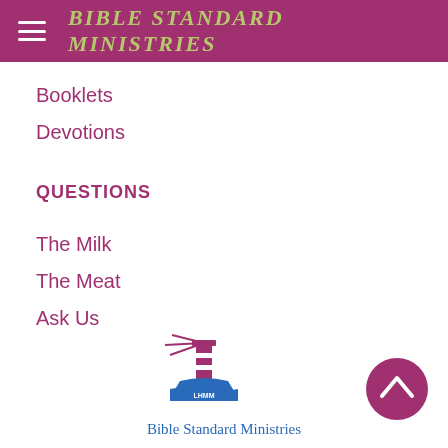BIBLE STANDARD MINISTRIES
Booklets
Devotions
QUESTIONS
The Milk
The Meat
Ask Us
[Figure (logo): Bible Standard Ministries lighthouse logo with LHMM text]
Bible Standard Ministries